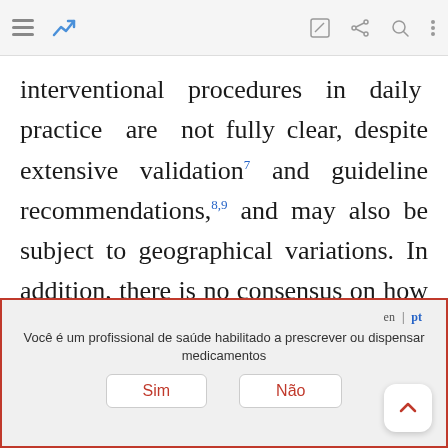[Toolbar with hamburger menu, trending icon, edit, share, search, more icons]
interventional procedures in daily practice are not fully clear, despite extensive validation⁷ and guideline recommendations,⁸⁹ and may also be subject to geographical variations. In addition, there is no consensus on how actual adoption should be calculated. In most reports, the number of percutaneous coronary interventions (PCI) is used as the denominator, which may result in underestimation, as it does not account for procedures in which revascularization may not have
en | pt
Você é um profissional de saúde habilitado a prescrever ou dispensar medicamentos
Sim   Não